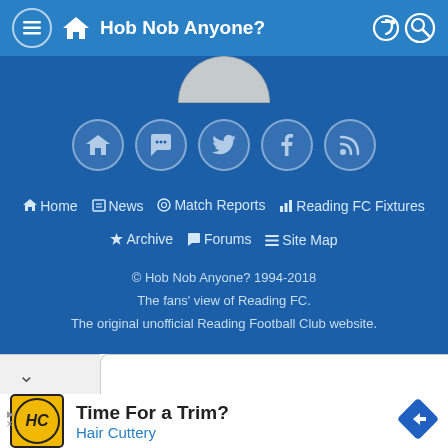Hob Nob Anyone?
[Figure (screenshot): Footer section of Hob Nob Anyone? website with social icons, navigation links, and copyright text on blue background]
© Hob Nob Anyone? 1994-2018
The fans' view of Reading FC.
The original unofficial Reading Football Club website.
[Figure (infographic): Advertisement for Hair Cuttery: Time For a Trim? with HC logo and navigation arrow icon]